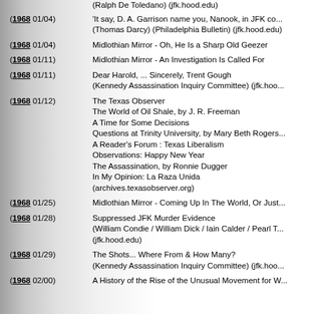(Ralph De Toledano) (jfk.hood.edu)
(1968 01/04) 'It say, D. A. Garrison name you, Nanook, in JFK co... (Thomas Darcy) (Philadelphia Bulletin) (jfk.hood.edu)
(1968 01/04) Midlothian Mirror - Oh, He Is a Sharp Old Geezer
(1968 01/11) Midlothian Mirror - An Investigation Is Called For
(1968 01/11) Dear Harold, ... Sincerely, Trent Gough (Kennedy Assassination Inquiry Committee) (jfk.hoo...)
(1968 01/12) The Texas Observer
The World of Oil Shale, by J. R. Freeman
A Time for Some Decisions
Questions at Trinity University, by Mary Beth Rogers
A Reader's Forum : Texas Liberalism
Observations: Happy New Year
The Assassination, by Ronnie Dugger
In My Opinion: La Raza Unida
(archives.texasobserver.org)
(1968 01/25) Midlothian Mirror - Coming Up In The World, Or Just...
(1968 01/28) Suppressed JFK Murder Evidence (William Condie / William Dick / Iain Calder / Pearl T... (jfk.hood.edu)
(1968 01/29) The Shots... Where From & How Many? (Kennedy Assassination Inquiry Committee) (jfk.hoo...)
(1968 02/00) A History of the Rise of the Unusual Movement for W...